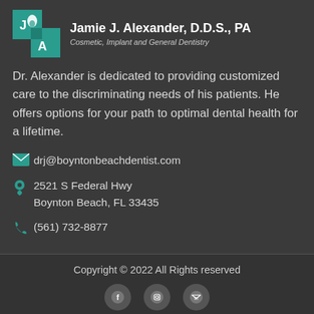[Figure (logo): Jamie J. Alexander DDS PA dental practice logo with teal squares and tooth icon]
Jamie J. Alexander, D.D.S., PA
Cosmetic, Implant and General Dentistry
Dr. Alexander is dedicated to providing customized care to the discriminating needs of his patients. He offers options for your path to optimal dental health for a lifetime.
drj@boyntonbeachdentist.com
2521 S Federal Hwy
Boynton Beach, FL 33435
(561) 732-8877
Copyright © 2022 All Rights reserved